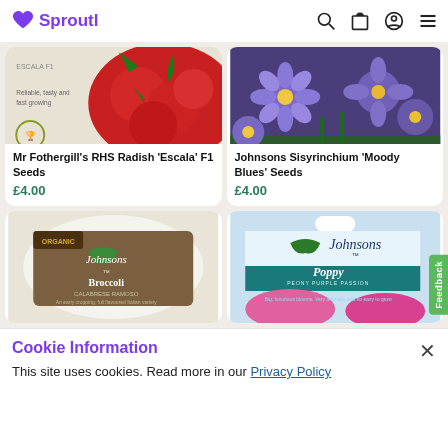Sproutl
[Figure (photo): Mr Fothergill's RHS Radish Escala F1 seed packet with radishes photo]
[Figure (photo): Johnsons Sisyrinchium Moody Blues Seeds with purple flowers photo]
Mr Fothergill's RHS Radish 'Escala' F1 Seeds
£4.00
Johnsons Sisyrinchium 'Moody Blues' Seeds
£4.00
[Figure (photo): Johnsons Organic Broccoli seed packet (Calabrese Ramoso)]
[Figure (photo): Johnsons Poppy Peony Purple Passion seed packet]
Cookie Information
This site uses cookies. Read more in our Privacy Policy